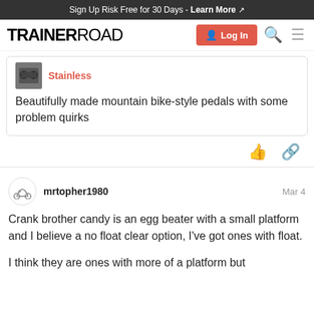Sign Up Risk Free for 30 Days - Learn More
[Figure (logo): TrainerRoad logo with Log In button, search and menu icons]
[Figure (screenshot): Quoted forum post card showing avatar image and username 'Stainless' in red, with text: Beautifully made mountain bike-style pedals with some problem quirks]
Beautifully made mountain bike-style pedals with some problem quirks
mrtopher1980  Mar 4
Crank brother candy is an egg beater with a small platform and I believe a no float clear option, I've got ones with float.
I think they are ones with more of a platform but